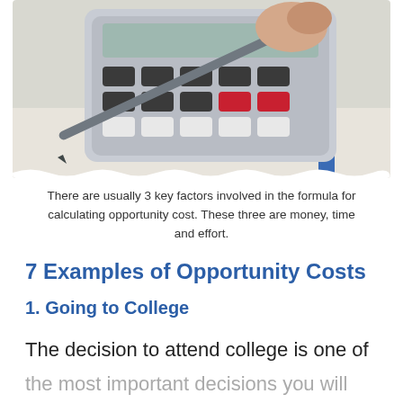[Figure (photo): A hand pressing keys on a calculator, with a pen and financial documents visible in the background, suggesting financial calculation.]
There are usually 3 key factors involved in the formula for calculating opportunity cost. These three are money, time and effort.
7 Examples of Opportunity Costs
1. Going to College
The decision to attend college is one of the most important decisions you will